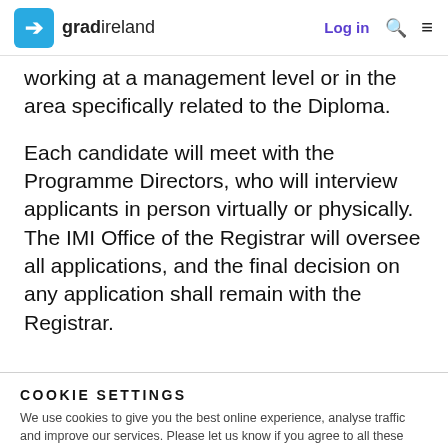gradireland | Log in
working at a management level or in the area specifically related to the Diploma.
Each candidate will meet with the Programme Directors, who will interview applicants in person virtually or physically. The IMI Office of the Registrar will oversee all applications, and the final decision on any application shall remain with the Registrar.
COOKIE SETTINGS
We use cookies to give you the best online experience, analyse traffic and improve our services. Please let us know if you agree to all these cookies.
Manage settings
Yes, I agree